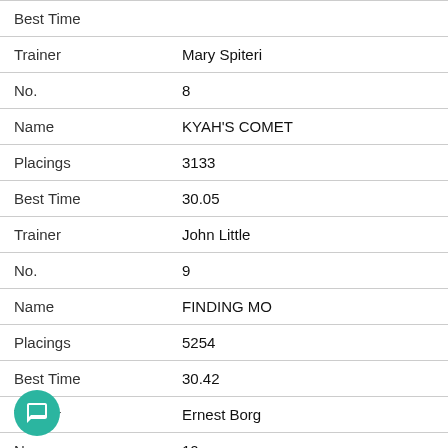| Field | Value |
| --- | --- |
| Best Time |  |
| Trainer | Mary Spiteri |
| No. | 8 |
| Name | KYAH'S COMET |
| Placings | 3133 |
| Best Time | 30.05 |
| Trainer | John Little |
| No. | 9 |
| Name | FINDING MO |
| Placings | 5254 |
| Best Time | 30.42 |
| Trainer | Ernest Borg |
| No. | 10 |
| Name | TOP EDGE |
| Placings | 3247 |
| Best Time | 30.40 |
| Trainer | Doreen Drynan |